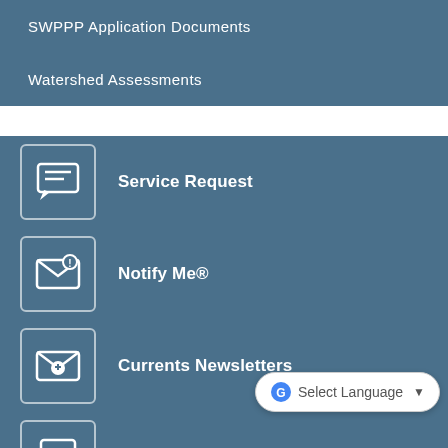SWPPP Application Documents
Watershed Assessments
Service Request
Notify Me®
Currents Newsletters
Rec Program Registration
Select Language